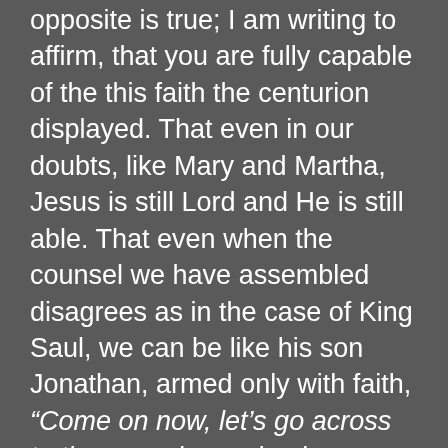opposite is true; I am writing to affirm, that you are fully capable of the this faith the centurion displayed. That even in our doubts, like Mary and Martha, Jesus is still Lord and He is still able. That even when the counsel we have assembled disagrees as in the case of King Saul, we can be like his son Jonathan, armed only with faith, “Come on now, let’s go across to these uncircumcised pagans. Maybe God will work for us. There’s no rule that says God can only deliver by using a big army. No one can stop God from saving when he sets his mind to it.” (1 Samuel 14)
By all means have counselors, i have counselors. Please, seek advice and formulate plans, i seek advice and formulate plans. But, and i say it again, BUT, do not forget to sincerely seek the counsel of God, do not forget to seek His